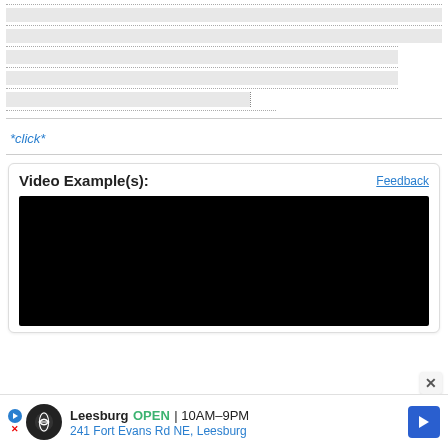[Figure (screenshot): Form section with dotted-line input fields and a partial text input box with a vertical dotted divider]
*click*
Video Example(s):
Feedback
[Figure (screenshot): Black video player rectangle representing a video example]
[Figure (screenshot): Advertisement bar: Leesburg OPEN 10AM-9PM, 241 Fort Evans Rd NE, Leesburg with logo and navigation arrow]